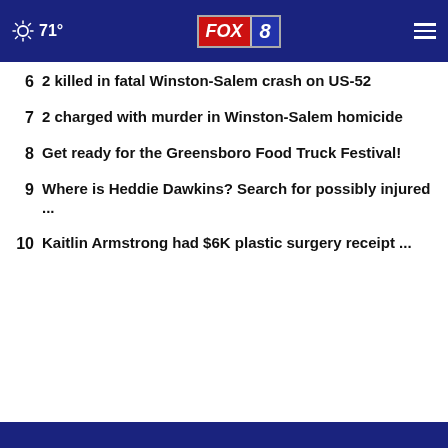71° FOX 8
6  2 killed in fatal Winston-Salem crash on US-52
7  2 charged with murder in Winston-Salem homicide
8  Get ready for the Greensboro Food Truck Festival!
9  Where is Heddie Dawkins? Search for possibly injured ...
10  Kaitlin Armstrong had $6K plastic surgery receipt ...